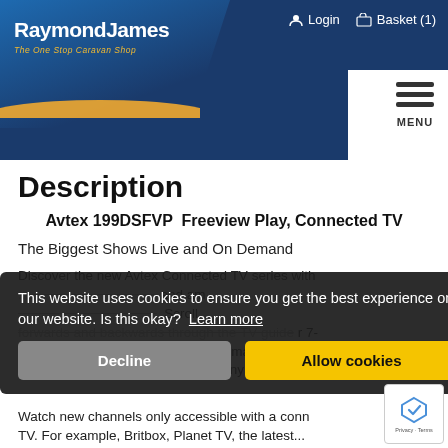[Figure (logo): RaymondJames logo - The One Stop Caravan Shop, dark blue header with login and basket navigation]
Description
Avtex 199DSFVP  Freeview Play, Connected TV
The Biggest Shows Live and On Demand
Discover the new Avtex Connected TV series with ... Scroll ... 7-day catch up plus loads more on demand with BBC Player, ITV hub, All4 ... and many more.
This website uses cookies to ensure you get the best experience on our website. Is this okay?  Learn more
Watch new channels only accessible with a Connected TV. For example, Britbox, Planet TV, the latest ...